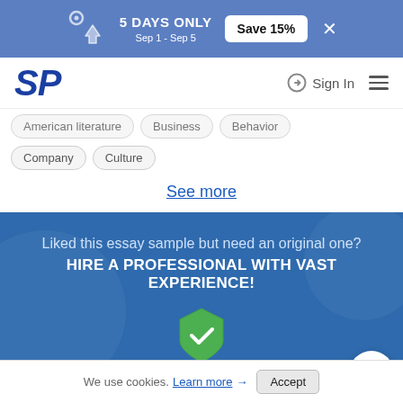5 DAYS ONLY Sep 1 - Sep 5 Save 15%
[Figure (logo): SP logo in blue italic bold font]
Sign In
American literature Business Behavior Company Culture
See more
Liked this essay sample but need an original one?
HIRE A PROFESSIONAL WITH VAST EXPERIENCE!
[Figure (illustration): Green shield with white checkmark]
24/7 online support
We use cookies. Learn more → Accept